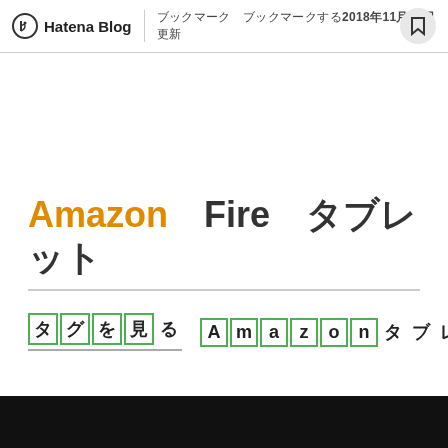Hatena Blog | ブックマーク　ブックマークする2018年11月29日更新
Amazon　Fire　タブレット
タグを見る　　Amazon Fire タブレット記事